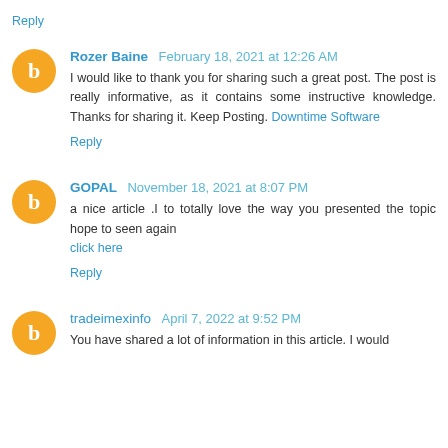Reply
Rozer Baine  February 18, 2021 at 12:26 AM
I would like to thank you for sharing such a great post. The post is really informative, as it contains some instructive knowledge. Thanks for sharing it. Keep Posting. Downtime Software
Reply
GOPAL  November 18, 2021 at 8:07 PM
a nice article .I to totally love the way you presented the topic hope to seen again
click here
Reply
tradeimexinfo  April 7, 2022 at 9:52 PM
You have shared a lot of information in this article. I would